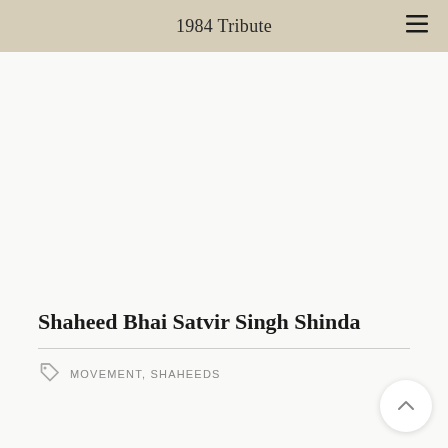1984 Tribute
Shaheed Bhai Satvir Singh Shinda
MOVEMENT, SHAHEEDS